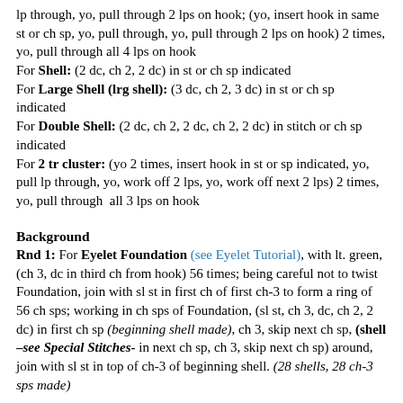lp through, yo, pull through 2 lps on hook; (yo, insert hook in same st or ch sp, yo, pull through, yo, pull through 2 lps on hook) 2 times, yo, pull through all 4 lps on hook
For Shell: (2 dc, ch 2, 2 dc) in st or ch sp indicated
For Large Shell (lrg shell): (3 dc, ch 2, 3 dc) in st or ch sp indicated
For Double Shell: (2 dc, ch 2, 2 dc, ch 2, 2 dc) in stitch or ch sp indicated
For 2 tr cluster: (yo 2 times, insert hook in st or sp indicated, yo, pull lp through, yo, work off 2 lps, yo, work off next 2 lps) 2 times, yo, pull through all 3 lps on hook
Background
Rnd 1: For Eyelet Foundation (see Eyelet Tutorial), with lt. green, (ch 3, dc in third ch from hook) 56 times; being careful not to twist Foundation, join with sl st in first ch of first ch-3 to form a ring of 56 ch sps; working in ch sps of Foundation, (sl st, ch 3, dc, ch 2, 2 dc) in first ch sp (beginning shell made), ch 3, skip next ch sp, (shell –see Special Stitches- in next ch sp, ch 3, skip next ch sp) around, join with sl st in top of ch-3 of beginning shell. (28 shells, 28 ch-3 sps made)
Rnd 2: Sl st in next st, (sl st, ch 3, ch 2, 2 dc) in ch 2 sp of first...